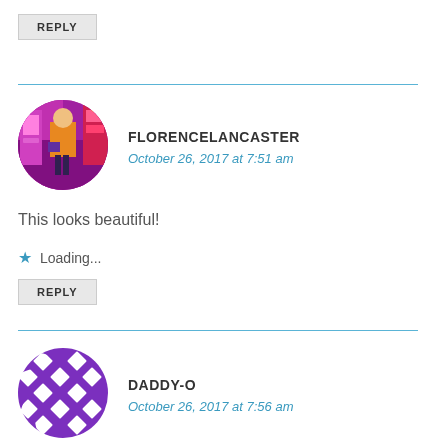REPLY
[Figure (illustration): Circular avatar photo of Florence Lancaster - person in yellow/orange jacket in colorful arcade/entertainment setting with purple/pink lighting]
FLORENCELANCASTER
October 26, 2017 at 7:51 am
This looks beautiful!
Loading...
REPLY
[Figure (illustration): Circular purple avatar with diamond/checkerboard pattern for Daddy-O]
DADDY-O
October 26, 2017 at 7:56 am